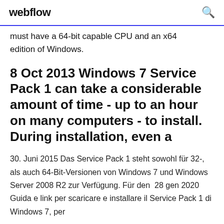webflow
must have a 64-bit capable CPU and an x64 edition of Windows.
8 Oct 2013 Windows 7 Service Pack 1 can take a considerable amount of time - up to an hour on many computers - to install. During installation, even a
30. Juni 2015 Das Service Pack 1 steht sowohl für 32-, als auch 64-Bit-Versionen von Windows 7 und Windows Server 2008 R2 zur Verfügung. Für den  28 gen 2020 Guida e link per scaricare e installare il Service Pack 1 di Windows 7, per